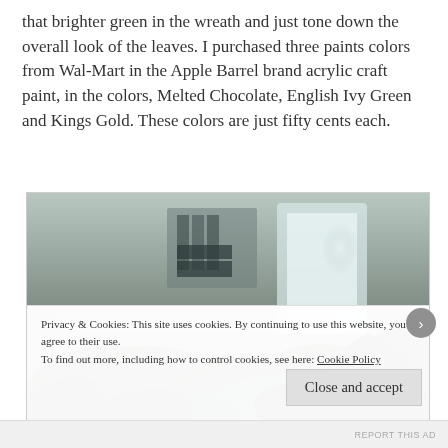that brighter green in the wreath and just tone down the overall look of the leaves. I purchased three paints colors from Wal-Mart in the Apple Barrel brand acrylic craft paint, in the colors, Melted Chocolate, English Ivy Green and Kings Gold. These colors are just fifty cents each.
[Figure (photo): Close-up photo of dark wreath leaves with blurred background showing a room interior with window light]
Privacy & Cookies: This site uses cookies. By continuing to use this website, you agree to their use.
To find out more, including how to control cookies, see here: Cookie Policy
Close and accept